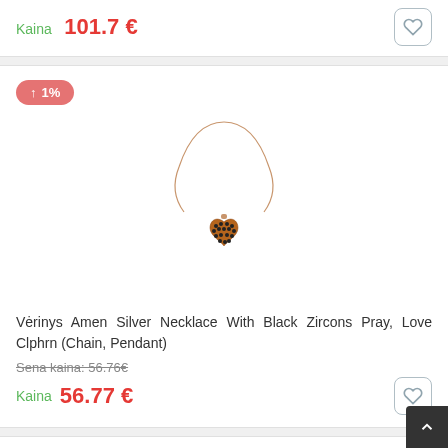Kaina  101.7 €
[Figure (photo): Rose gold necklace with heart-shaped pendant covered in black zircon stones]
Vėrinys Amen Silver Necklace With Black Zircons Pray, Love Clphrn (Chain, Pendant)
Sena kaina: 56.76€
Kaina  56.77 €
[Figure (photo): Silver necklace with angel pendant decorated with crystals]